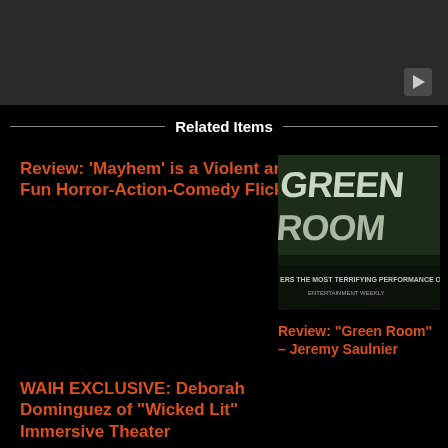[Figure (screenshot): Dark video player placeholder with play button icon in bottom right corner]
Related Items
Review: ‘Mayhem’ is a Violent and Fun Horror-Action-Comedy Flick
[Figure (photo): Movie poster/thumbnail for Green Room showing text 'GREEN ROOM' in large distressed letters and tagline 'ERS THE MOST TERRIFYING PERFORMANCE OF ENTERTAINMENT WEEKLY']
Review: “Green Room” – Jeremy Saulnier
WAIH EXCLUSIVE: Deborah Dominguez of “Wicked Lit” Immersive Theater